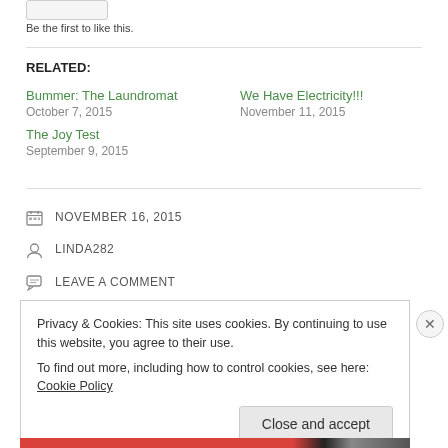Be the first to like this.
RELATED:
Bummer: The Laundromat
October 7, 2015
We Have Electricity!!!
November 11, 2015
The Joy Test
September 9, 2015
NOVEMBER 16, 2015
LINDA282
LEAVE A COMMENT
Privacy & Cookies: This site uses cookies. By continuing to use this website, you agree to their use.
To find out more, including how to control cookies, see here: Cookie Policy